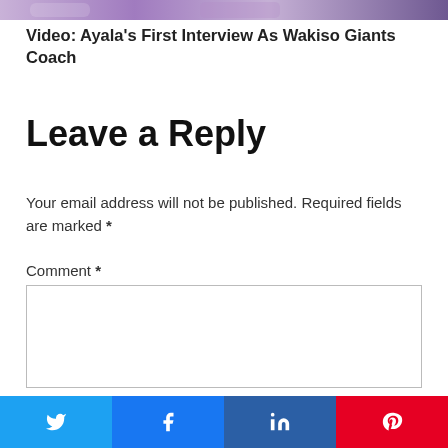[Figure (photo): Partial thumbnail image at top of page showing purple/blue tones]
Video: Ayala’s First Interview As Wakiso Giants Coach
Leave a Reply
Your email address will not be published. Required fields are marked *
Comment *
[Figure (screenshot): Empty comment textarea input box]
[Figure (infographic): Social share buttons bar: Twitter (blue), Facebook (blue), LinkedIn (dark blue), Pinterest (red)]